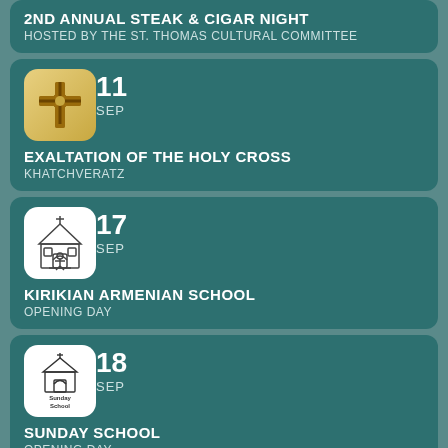2ND ANNUAL STEAK & CIGAR NIGHT
HOSTED BY THE ST. THOMAS CULTURAL COMMITTEE
11 SEP
EXALTATION OF THE HOLY CROSS
KHATCHVERATZ
17 SEP
KIRIKIAN ARMENIAN SCHOOL
OPENING DAY
18 SEP
SUNDAY SCHOOL
OPENING DAY